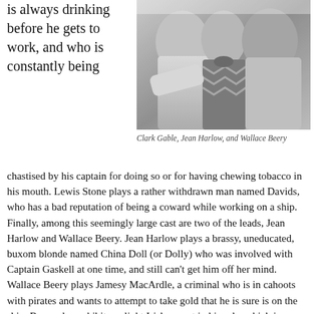is always drinking before he gets to work, and who is constantly being
[Figure (photo): Black and white photograph of Clark Gable, Jean Harlow, and Wallace Beery]
Clark Gable, Jean Harlow, and Wallace Beery
chastised by his captain for doing so or for having chewing tobacco in his mouth. Lewis Stone plays a rather withdrawn man named Davids, who has a bad reputation of being a coward while working on a ship. Finally, among this seemingly large cast are two of the leads, Jean Harlow and Wallace Beery. Jean Harlow plays a brassy, uneducated, buxom blonde named China Doll (or Dolly) who was involved with Captain Gaskell at one time, and still can't get him off her mind. Wallace Beery plays Jamesy MacArdle, a criminal who is in cahoots with pirates and wants to attempt to take gold that he is sure is on the ship. Beery also exhibits a slight Irish accent in his role, which is interesting.